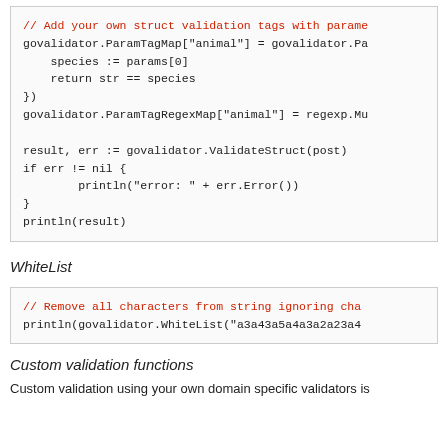[Figure (other): Code block showing govalidator struct validation with ParamTagMap, ParamTagRegexMap, ValidateStruct, and println statements]
WhiteList
[Figure (other): Code block showing govalidator.WhiteList usage to remove all characters from string ignoring certain characters]
Custom validation functions
Custom validation using your own domain specific validators is